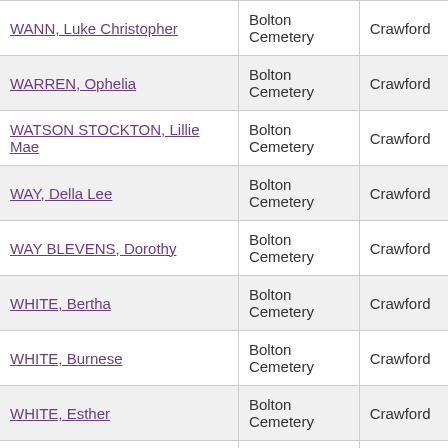| Name | Cemetery | County |
| --- | --- | --- |
| WANN, Luke Christopher | Bolton Cemetery | Crawford |
| WARREN, Ophelia | Bolton Cemetery | Crawford |
| WATSON STOCKTON, Lillie Mae | Bolton Cemetery | Crawford |
| WAY, Della Lee | Bolton Cemetery | Crawford |
| WAY BLEVENS, Dorothy | Bolton Cemetery | Crawford |
| WHITE, Bertha | Bolton Cemetery | Crawford |
| WHITE, Burnese | Bolton Cemetery | Crawford |
| WHITE, Esther | Bolton Cemetery | Crawford |
| WHITE, Hariam J | Bolton Cemetery | Crawford |